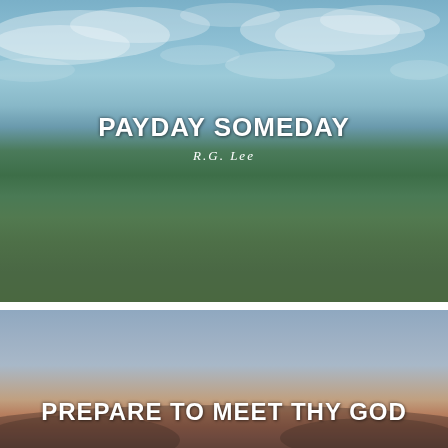[Figure (photo): Landscape photo showing green rolling hill under a blue cloudy sky, with text overlay]
PAYDAY SOMEDAY
R.G. Lee
[Figure (photo): Landscape photo showing a twilight/sunset sky over mountains with pink and blue tones, with text overlay]
PREPARE TO MEET THY GOD